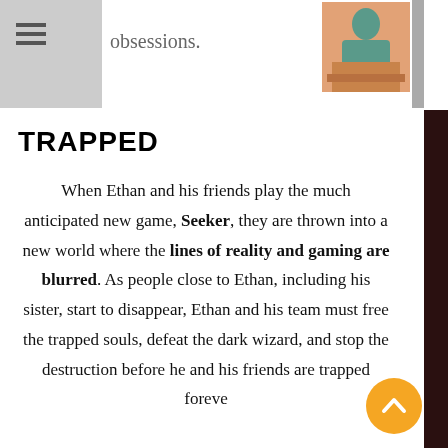obsessions.
[Figure (photo): Small thumbnail photo of a person at a desk]
TRAPPED
When Ethan and his friends play the much anticipated new game, Seeker, they are thrown into a new world where the lines of reality and gaming are blurred. As people close to Ethan, including his sister, start to disappear, Ethan and his team must free the trapped souls, defeat the dark wizard, and stop the destruction before he and his friends are trapped forever.